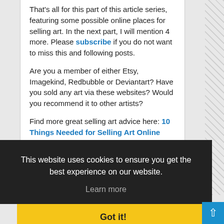That's all for this part of this article series, featuring some possible online places for selling art. In the next part, I will mention 4 more. Please subscribe if you do not want to miss this and following posts.
Are you a member of either Etsy, Imagekind, Redbubble or Deviantart? Have you sold any art via these websites? Would you recommend it to other artists?
Find more great selling art advice here: 10 Things Needed for Selling Art Online
This website uses cookies to ensure you get the best experience on our website.
Learn more
Got it!
Posted by Graham Matthews
Labels: Art Promotion, Online Portfolio Gallery, Sell Art Online
Graham